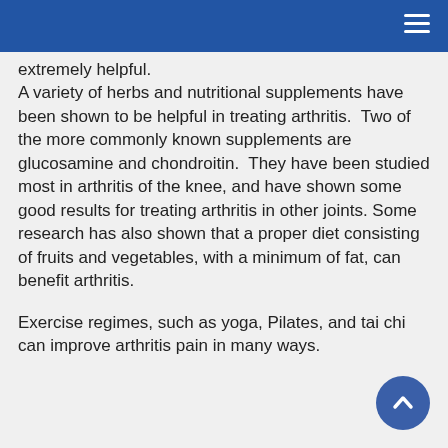extremely helpful. A variety of herbs and nutritional supplements have been shown to be helpful in treating arthritis.  Two of the more commonly known supplements are glucosamine and chondroitin.  They have been studied most in arthritis of the knee, and have shown some good results for treating arthritis in other joints. Some research has also shown that a proper diet consisting of fruits and vegetables, with a minimum of fat, can benefit arthritis.
Exercise regimes, such as yoga, Pilates, and tai chi can improve arthritis pain in many ways.